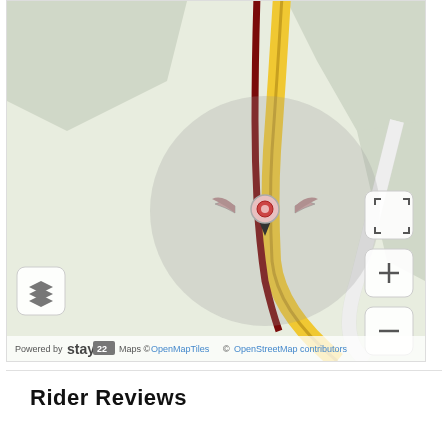[Figure (map): OpenStreetMap showing a road with a red/dark route line and a location marker with wings icon. A gray circular region highlights the location. Map controls include fullscreen, zoom in/out buttons and a layers button. Attribution reads: Powered by StayMaps © OpenMapTiles © OpenStreetMap contributors]
Rider Reviews